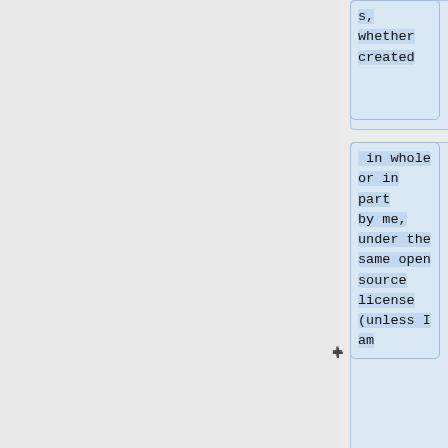s, whether created
in whole or in part by me, under the same open source license (unless I am
permitted to submit under a different license), as indicated in the file; or<br />